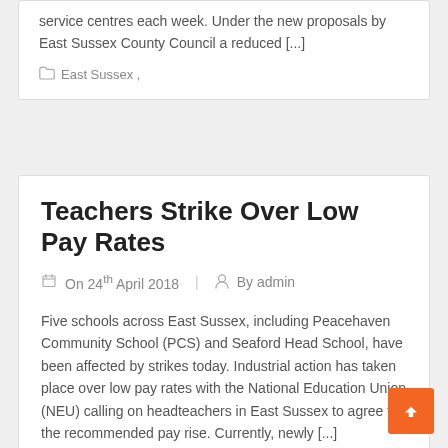service centres each week. Under the new proposals by East Sussex County Council a reduced [...]
East Sussex ,
Teachers Strike Over Low Pay Rates
On 24th April 2018   By admin
Five schools across East Sussex, including Peacehaven Community School (PCS) and Seaford Head School, have been affected by strikes today. Industrial action has taken place over low pay rates with the National Education Union (NEU) calling on headteachers in East Sussex to agree to the recommended pay rise. Currently, newly [...]
Peacehaven ,   Seaford ,